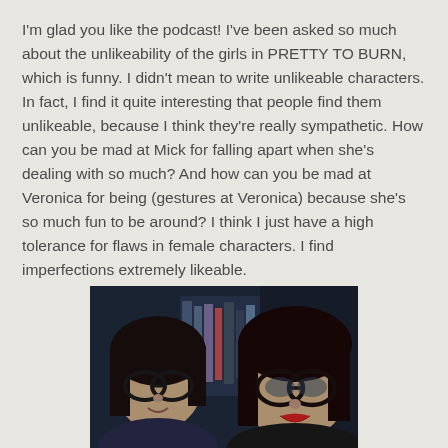I'm glad you like the podcast! I've been asked so much about the unlikeability of the girls in PRETTY TO BURN, which is funny. I didn't mean to write unlikeable characters. In fact, I find it quite interesting that people find them unlikeable, because I think they're really sympathetic. How can you be mad at Mick for falling apart when she's dealing with so much? And how can you be mad at Veronica for being (gestures at Veronica) because she's so much fun to be around? I think I just have a high tolerance for flaws in female characters. I find imperfections extremely likeable.
[Figure (photo): Two women with dark hair and glasses photographed from the shoulders up in a selfie-style photo. Bookshelves are visible in the background. The lighting is dark and moody.]